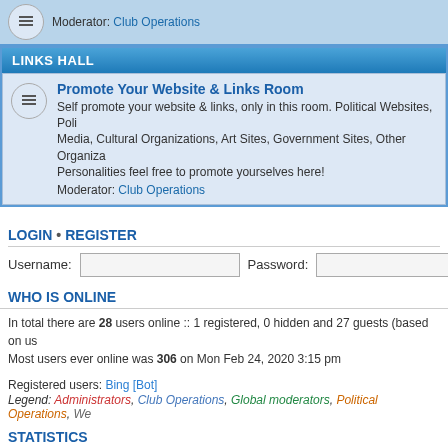Moderator: Club Operations
LINKS HALL
Promote Your Website & Links Room – Self promote your website & links, only in this room. Political Websites, Political Media, Cultural Organizations, Art Sites, Government Sites, Other Organizations, Personalities feel free to promote yourselves here! Moderator: Club Operations
LOGIN • REGISTER
Username: [input] Password: [input]
WHO IS ONLINE
In total there are 28 users online :: 1 registered, 0 hidden and 27 guests (based on users active over the past 5 minutes). Most users ever online was 306 on Mon Feb 24, 2020 3:15 pm
Registered users: Bing [Bot]
Legend: Administrators, Club Operations, Global moderators, Political Operations, We...
STATISTICS
Total posts 8091 • Total topics 1697 • Total members 764 • Our newest member Avalo...
Board index
IPC operating since March 30, 2000